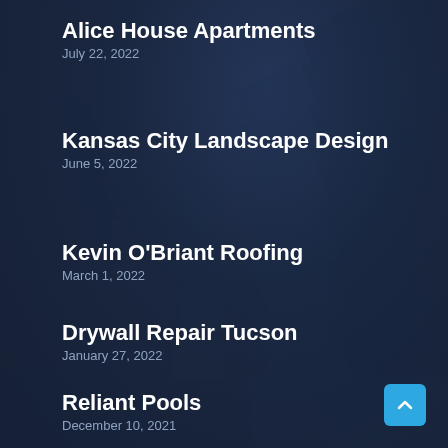Alice House Apartments
July 22, 2022
Kansas City Landscape Design
June 5, 2022
Kevin O'Briant Roofing
March 1, 2022
Drywall Repair Tucson
January 27, 2022
Reliant Pools
December 10, 2021